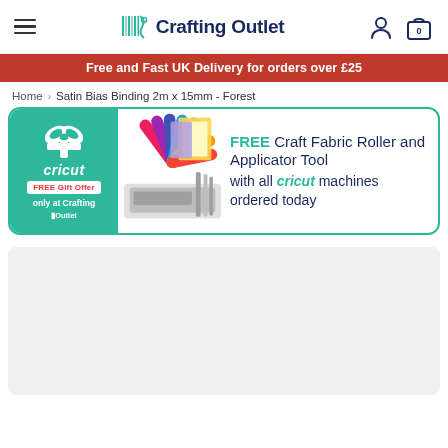Crafting Outlet — Navigation bar with hamburger menu, logo, account icon, and cart (0)
Free and Fast UK Delivery for orders over £25
Home > Satin Bias Binding 2m x 15mm - Forest
[Figure (infographic): Cricut FREE Gift Offer promotional banner: cricut logo with gift bow on green background on left, product images in center (colorful swatches and cricut machine), text on right reading FREE Craft Fabric Roller and Applicator Tool with all cricut machines ordered today]
[Figure (photo): Product image placeholder area (light grey rectangle)]